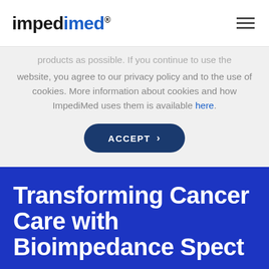impedimed®
products as possible. If you continue to use the website, you agree to our privacy policy and to the use of cookies. More information about cookies and how ImpediMed uses them is available here.
ACCEPT >
Transforming Cancer Care with Bioimpedance Spectro...